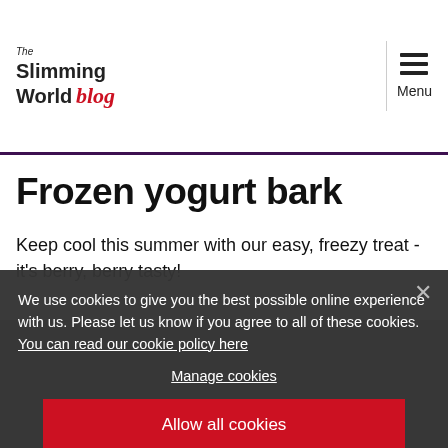The Slimming World blog — Menu
Frozen yogurt bark
Keep cool this summer with our easy, freezy treat - it's berry, berry tasty!
[Figure (photo): Dark grey frosted background, partially visible behind cookie consent overlay]
We use cookies to give you the best possible online experience with us. Please let us know if you agree to all of these cookies. You can read our cookie policy here
Manage cookies
Allow all cookies